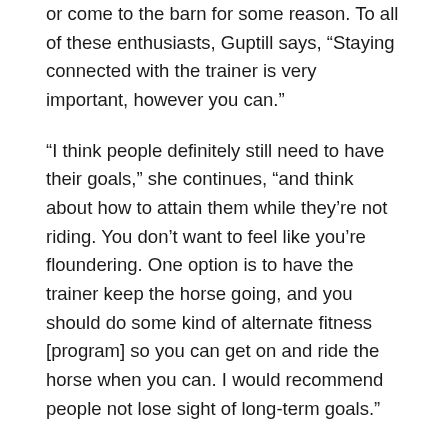or come to the barn for some reason. To all of these enthusiasts, Guptill says, “Staying connected with the trainer is very important, however you can.”
“I think people definitely still need to have their goals,” she continues, “and think about how to attain them while they’re not riding. You don’t want to feel like you’re floundering. One option is to have the trainer keep the horse going, and you should do some kind of alternate fitness [program] so you can get on and ride the horse when you can. I would recommend people not lose sight of long-term goals.”
The current virtual emphasis actually plays into many riders’ wheelhouse.
“A lot of people are visual learners,” Guptill says, “and watching the trainer work the horse can help them understand what’s required of the horse and how it’s done